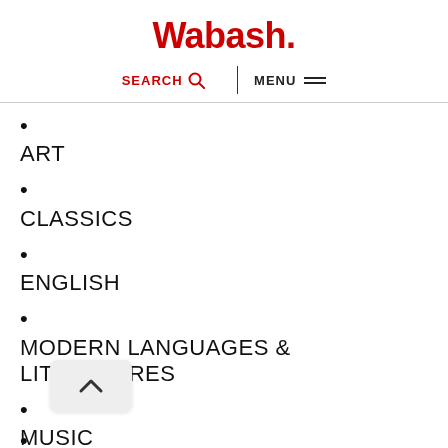Wabash.
SEARCH  MENU
ART
CLASSICS
ENGLISH
MODERN LANGUAGES & LITERATURES
MUSIC
PHILOSOPHY